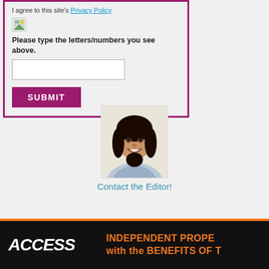I agree to this site's Privacy Policy
[Figure (photo): Broken/loading image icon for CAPTCHA]
Please type the letters/numbers you see above.
[Figure (screenshot): Text input field for CAPTCHA entry]
[Figure (screenshot): SUBMIT button in magenta/purple color]
[Figure (photo): Portrait photo of a smiling Asian woman with long dark hair, wearing a blue patterned top]
Contact the Editor!
[Figure (logo): ACCESS logo in white italic bold text on black background with orange border banner; text reads: INDEPENDENT PROPE... with the BENEFITS OF T...]